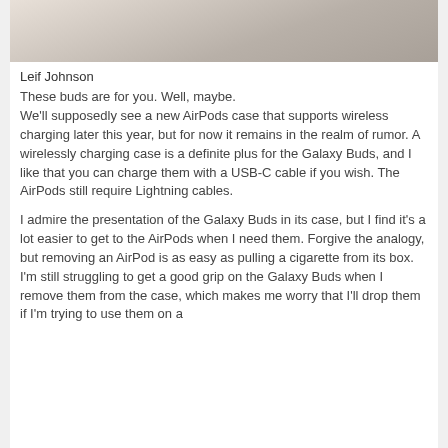[Figure (photo): Partial photo of what appears to be earbuds or AirPods case on a light surface, cropped at top]
Leif Johnson
These buds are for you. Well, maybe.
We'll supposedly see a new AirPods case that supports wireless charging later this year, but for now it remains in the realm of rumor. A wirelessly charging case is a definite plus for the Galaxy Buds, and I like that you can charge them with a USB-C cable if you wish. The AirPods still require Lightning cables.
I admire the presentation of the Galaxy Buds in its case, but I find it's a lot easier to get to the AirPods when I need them. Forgive the analogy, but removing an AirPod is as easy as pulling a cigarette from its box. I'm still struggling to get a good grip on the Galaxy Buds when I remove them from the case, which makes me worry that I'll drop them if I'm trying to use them on a